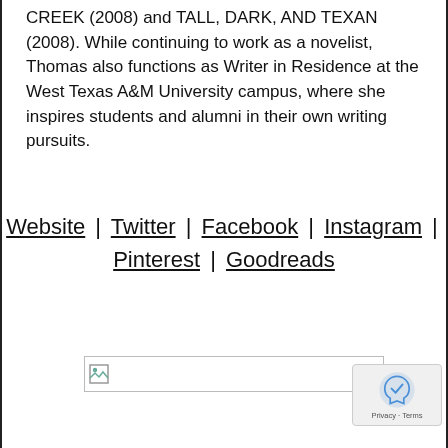CREEK (2008) and TALL, DARK, AND TEXAN (2008). While continuing to work as a novelist, Thomas also functions as Writer in Residence at the West Texas A&M University campus, where she inspires students and alumni in their own writing pursuits.
Website | Twitter | Facebook | Instagram | Pinterest | Goodreads
[Figure (other): Broken image placeholder with small image icon in top-left corner]
[Figure (other): reCAPTCHA badge widget in bottom-right corner with Privacy and Terms text]